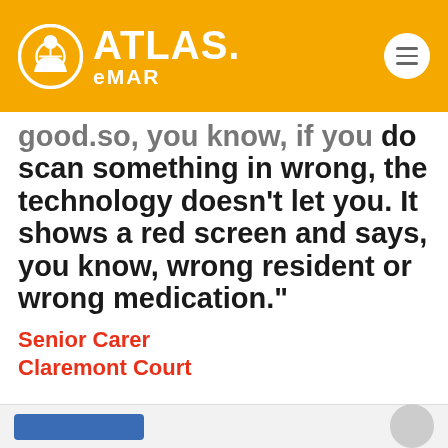[Figure (logo): ATLAS. eMAR logo on golden/amber header background with circular icon and hamburger menu button]
good.so, you know, if you do scan something in wrong, the technology doesn't let you. It shows a red screen and says, you know, wrong resident or wrong medication."
Senior Carer
Claremont Court